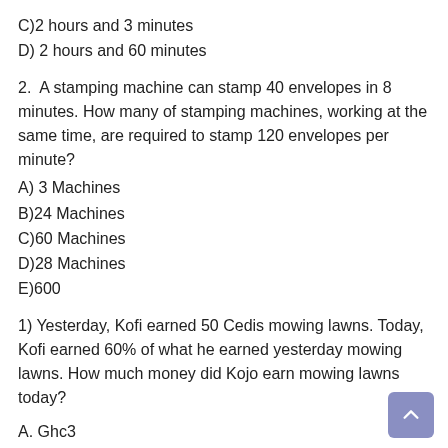C)2 hours and 3 minutes
D) 2 hours and 60 minutes
2.  A stamping machine can stamp 40 envelopes in 8 minutes. How many of stamping machines, working at the same time, are required to stamp 120 envelopes per minute?
A) 3 Machines
B)24 Machines
C)60 Machines
D)28 Machines
E)600
1) Yesterday, Kofi earned 50 Cedis mowing lawns. Today, Kofi earned 60% of what he earned yesterday mowing lawns. How much money did Kojo earn mowing lawns today?
A. Ghc3
B. Ghc35